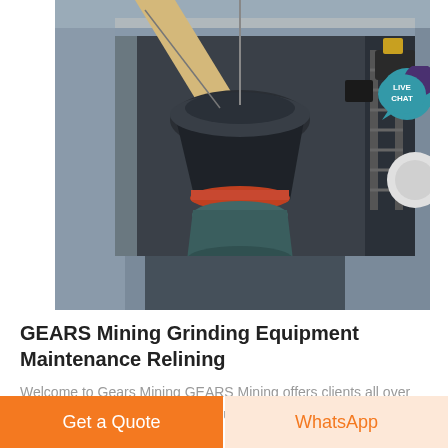[Figure (photo): Overhead/aerial view of industrial mining grinding equipment (cone crusher) installed between steel structural beams and framework, photographed from above in an industrial facility.]
GEARS Mining Grinding Equipment Maintenance Relining
Welcome to Gears Mining GEARS Mining offers clients all over the globe a complete grinding equipment sales
Get a Quote
WhatsApp